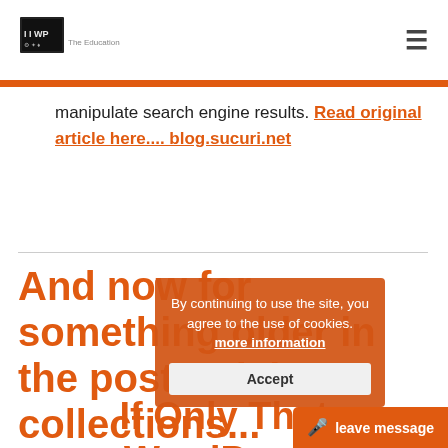[Figure (logo): Website logo with WP text and small icons]
manipulate search engine results. Read original article here.... blog.sucuri.net
And now for something older in the post article collections...
If Only That WordPress
By continuing to use the site, you agree to the use of cookies. more information
Accept
leave message